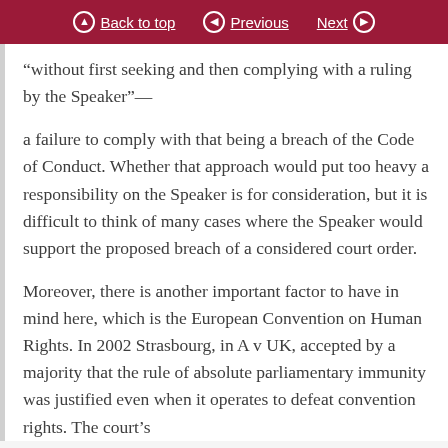Back to top | Previous | Next
“without first seeking and then complying with a ruling by the Speaker”—
a failure to comply with that being a breach of the Code of Conduct. Whether that approach would put too heavy a responsibility on the Speaker is for consideration, but it is difficult to think of many cases where the Speaker would support the proposed breach of a considered court order.
Moreover, there is another important factor to have in mind here, which is the European Convention on Human Rights. In 2002 Strasbourg, in A v UK, accepted by a majority that the rule of absolute parliamentary immunity was justified even when it operates to defeat convention rights. The court’s